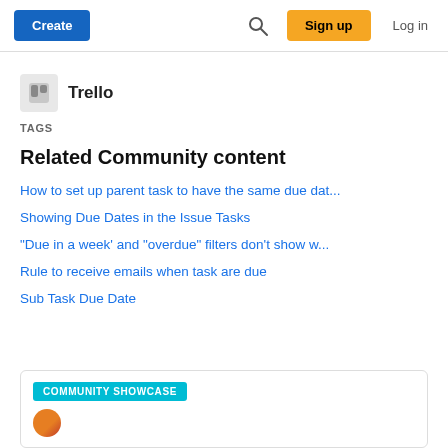Create  [search icon]  Sign up  Log in
[Figure (logo): Trello logo icon (grey square with two rectangles) followed by the text 'Trello']
TAGS
Related Community content
How to set up parent task to have the same due dat...
Showing Due Dates in the Issue Tasks
"Due in a week' and "overdue" filters don't show w...
Rule to receive emails when task are due
Sub Task Due Date
[Figure (screenshot): Community Showcase section with cyan badge label and partial avatar below]